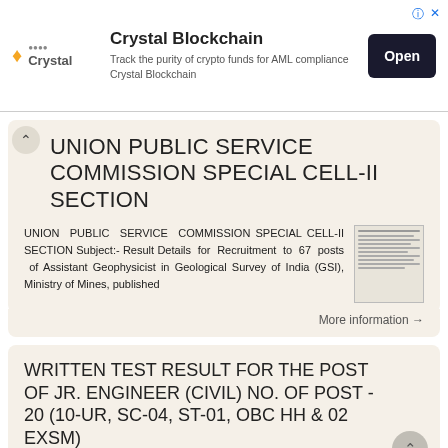[Figure (other): Crystal Blockchain advertisement banner with logo, tagline 'Track the purity of crypto funds for AML compliance Crystal Blockchain', and Open button]
UNION PUBLIC SERVICE COMMISSION SPECIAL CELL-II SECTION
UNION PUBLIC SERVICE COMMISSION SPECIAL CELL-II SECTION Subject:- Result Details for Recruitment to 67 posts of Assistant Geophysicist in Geological Survey of India (GSI), Ministry of Mines, published
More information →
WRITTEN TEST RESULT FOR THE POST OF JR. ENGINEER (CIVIL) NO. OF POST - 20 (10-UR, SC-04, ST-01, OBC HH & 02 EXSM)
WRITTEN TEST RESULT FOR THE POST OF